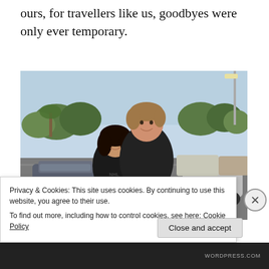ours, for travellers like us, goodbyes were only ever temporary.
[Figure (photo): Two people posing together in a parking lot with trees and cars visible in the background. A tall young man with light brown hair wearing a dark hoodie stands behind a shorter woman with dark hair also in dark clothing.]
Privacy & Cookies: This site uses cookies. By continuing to use this website, you agree to their use.
To find out more, including how to control cookies, see here: Cookie Policy
Close and accept
WORDPRESS.COM